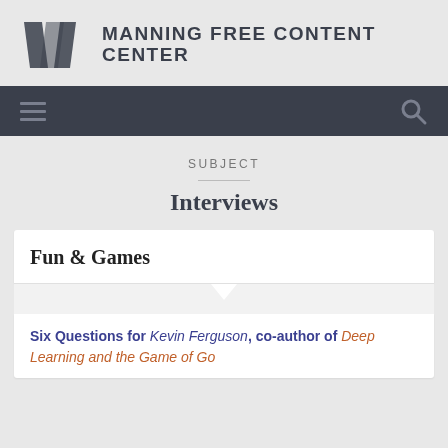MANNING FREE CONTENT CENTER
SUBJECT
Interviews
Fun & Games
Six Questions for Kevin Ferguson, co-author of Deep Learning and the Game of Go